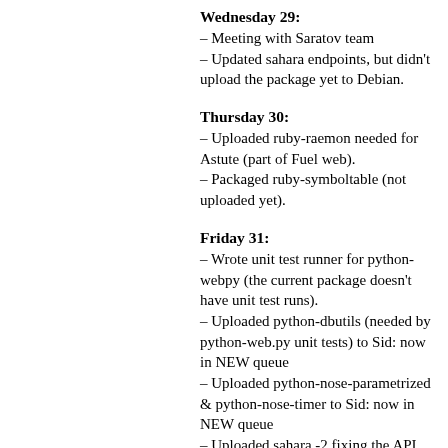Wednesday 29:
– Meeting with Saratov team
– Updated sahara endpoints, but didn't upload the package yet to Debian.
Thursday 30:
– Uploaded ruby-raemon needed for Astute (part of Fuel web).
– Packaged ruby-symboltable (not uploaded yet).
Friday 31:
– Wrote unit test runner for python-webpy (the current package doesn't have unit test runs).
– Uploaded python-dbutils (needed by python-web.py unit tests) to Sid: now in NEW queue
– Uploaded python-nose-parametrized & python-nose-timer to Sid: now in NEW queue
– Uploaded sahara -2 fixing the API endpoint registration URL and service name.